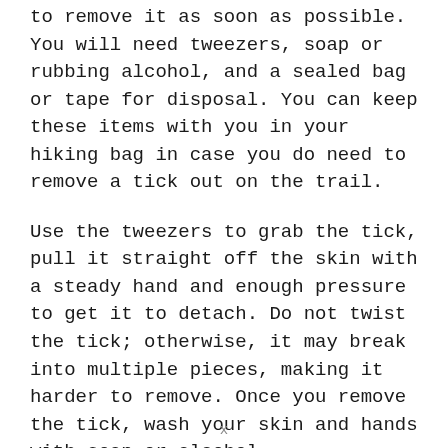to remove it as soon as possible. You will need tweezers, soap or rubbing alcohol, and a sealed bag or tape for disposal. You can keep these items with you in your hiking bag in case you do need to remove a tick out on the trail.
Use the tweezers to grab the tick, pull it straight off the skin with a steady hand and enough pressure to get it to detach. Do not twist the tick; otherwise, it may break into multiple pieces, making it harder to remove. Once you remove the tick, wash your skin and hands with soap or alcohol.
To dispose of the tick, fill a sealed bag with
x